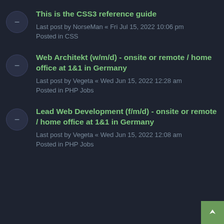This is the CSS3 reference guide
Last post by NorseMan « Fri Jul 15, 2022 10:06 pm
Posted in CSS
Web Architekt (w/m/d) - onsite or remote / home office at 1&1 in Germany
Last post by Vegeta « Wed Jun 15, 2022 12:28 am
Posted in PHP Jobs
Lead Web Development (f/m/d) - onsite or remote / home office at 1&1 in Germany
Last post by Vegeta « Wed Jun 15, 2022 12:08 am
Posted in PHP Jobs